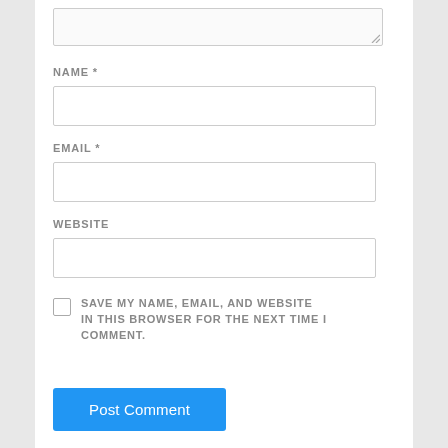[Figure (screenshot): Partial textarea input box at top of page (comment form textarea, partially visible)]
NAME *
[Figure (screenshot): Empty text input field for NAME]
EMAIL *
[Figure (screenshot): Empty text input field for EMAIL]
WEBSITE
[Figure (screenshot): Empty text input field for WEBSITE]
SAVE MY NAME, EMAIL, AND WEBSITE IN THIS BROWSER FOR THE NEXT TIME I COMMENT.
Post Comment